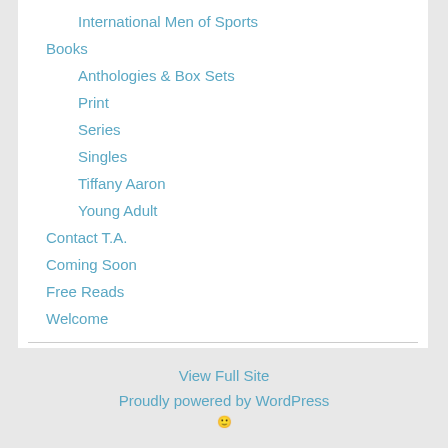International Men of Sports
Books
Anthologies & Box Sets
Print
Series
Singles
Tiffany Aaron
Young Adult
Contact T.A.
Coming Soon
Free Reads
Welcome
Follow T.A. on Twitter
Tweets by @TaChase
View Full Site
Proudly powered by WordPress